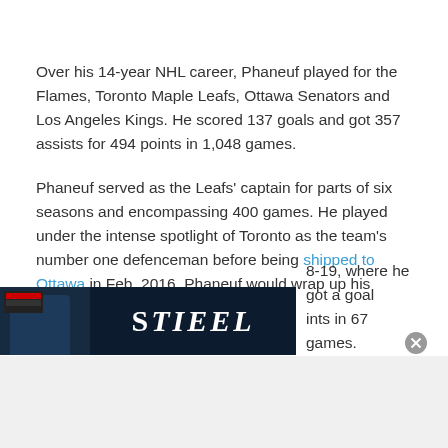Over his 14-year NHL career, Phaneuf played for the Flames, Toronto Maple Leafs, Ottawa Senators and Los Angeles Kings. He scored 137 goals and got 357 assists for 494 points in 1,048 games.
Phaneuf served as the Leafs' captain for parts of six seasons and encompassing 400 games. He played under the intense spotlight of Toronto as the team's number one defenceman before being shipped to Ottawa in Feb. 2016. Phaneuf would wrap up his [season] 8-19, where he got a goal [and] ints in 67 games.
[Figure (photo): Advertisement banner with STIFEL branding and hockey player imagery, partially overlapping text]